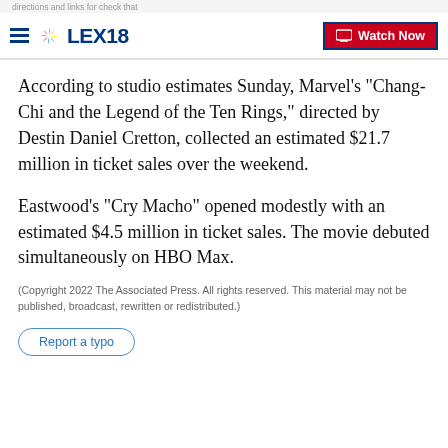LEX18 — Watch Now
According to studio estimates Sunday, Marvel’s “Chang-Chi and the Legend of the Ten Rings,” directed by Destin Daniel Cretton, collected an estimated $21.7 million in ticket sales over the weekend.
Eastwood’s “Cry Macho” opened modestly with an estimated $4.5 million in ticket sales. The movie debuted simultaneously on HBO Max.
(Copyright 2022 The Associated Press. All rights reserved. This material may not be published, broadcast, rewritten or redistributed.)
Report a typo